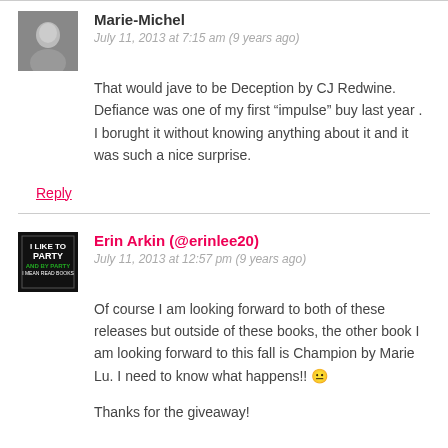[Figure (photo): Avatar of Marie-Michel, grayscale portrait photo]
Marie-Michel
July 11, 2013 at 7:15 am (9 years ago)
That would jave to be Deception by CJ Redwine. Defiance was one of my first “impulse” buy last year . I borught it without knowing anything about it and it was such a nice surprise.
Reply
[Figure (logo): I Like To Party And By Party I Mean Read Books logo]
Erin Arkin (@erinlee20)
July 11, 2013 at 12:57 pm (9 years ago)
Of course I am looking forward to both of these releases but outside of these books, the other book I am looking forward to this fall is Champion by Marie Lu. I need to know what happens!! 😐
Thanks for the giveaway!